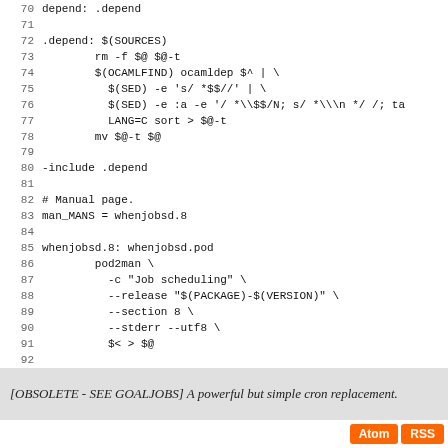[Figure (screenshot): Source code listing lines 70-97 of a Makefile for a project called whenjobsd, showing dependency rules, man page generation, and CLEANFILES definitions.]
[OBSOLETE - SEE GOALJOBS] A powerful but simple cron replacement.